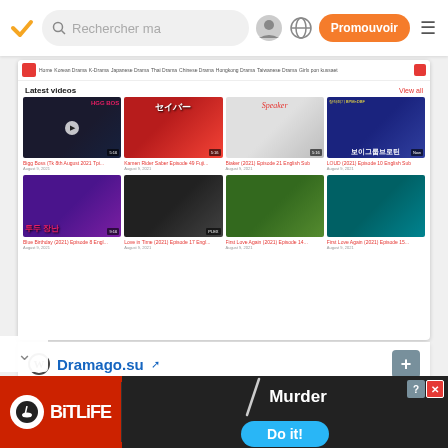[Figure (screenshot): Mobile app screenshot of a website analytics tool showing a streaming site 'Dramago.su' with latest video thumbnails from Korean and Japanese dramas, and site statistics including Rang 776,849 and Visiteurs 74.3K]
Rechercher ma
Promouvoir
Latest videos
View all
Bigg Boss (Tk 8th August 2021 Tpi...
Kamen Rider Saber Episode 49 Fuji...
Biaker (2021) Episode 21 English Sub
LOUD (2021) Episode 10 English Sub
Blue Birthday (2021) Episode 8 Engl...
Love in Time (2021) Episode 17 Engl...
First Love Again (2021) Episode 14...
First Love Again (2021) Episode 15...
Dramago.su
Industrie
Rang
Visiteurs
Streaming / partage de fichiers
776,849 ↓
536K
74.3K ↓
138.7K
[Figure (screenshot): BitLife Murder Do it! advertisement banner]